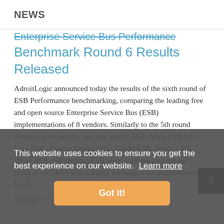NEWS
Enterprise Service Bus Performance Benchmark Round 6 Results Released
AdroitLogic announced today the results of the sixth round of ESB Performance benchmarking, comparing the leading free and open source Enterprise Service Bus (ESB) implementations of 8 vendors. Similarly to the 5th round conducted 10 months ago, the WSO2 ESB, Mule ESB CE, Fuse ESB, Apache ServiceMix, Talend ESB, Petals ESB, JBoss ESB and the UltraESB were compared across six popular use cases with varying message sizes and concurrency levels.
Singapore - (PRWEB) July 31, 2012
This website uses cookies to ensure you get the best experience on our website. Learn more
Got it!